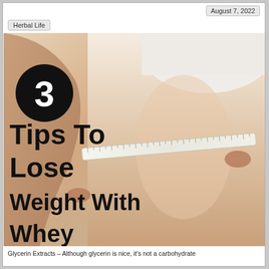August 7, 2022
Herbal Life
[Figure (photo): A person measuring their waist with a white tape measure, wearing a white crop top. A large black circle with the number 3 is overlaid on the upper left. Bold black text reads '3 Tips To Lose Weight With Whey' overlaid on the lower left of the image.]
Glycerin Extracts – Although glycerin is nice, it's not a carbohydrate